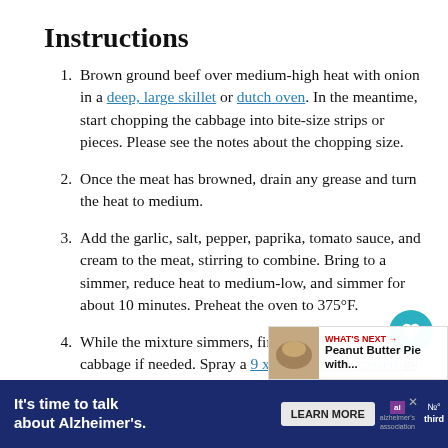Instructions
Brown ground beef over medium-high heat with onion in a deep, large skillet or dutch oven. In the meantime, start chopping the cabbage into bite-size strips or pieces. Please see the notes about the chopping size.
Once the meat has browned, drain any grease and turn the heat to medium.
Add the garlic, salt, pepper, paprika, tomato sauce, and cream to the meat, stirring to combine. Bring to a simmer, reduce heat to medium-low, and simmer for about 10 minutes. Preheat the oven to 375°F.
While the mixture simmers, finish chopping the cabbage if needed. Spray a 9 x 13 oven-safe casserole dish with non-stick cooking spray...
It's time to talk about Alzheimer's. LEARN MORE